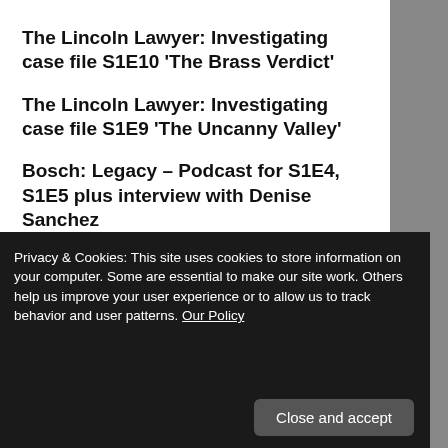The Lincoln Lawyer: Investigating case file S1E10 ‘The Brass Verdict’
The Lincoln Lawyer: Investigating case file S1E9 ‘The Uncanny Valley’
Bosch: Legacy – Podcast for S1E4, S1E5 plus interview with Denise Sanchez
The Lincoln Lawyer: Podcast for S1E3
Privacy & Cookies: This site uses cookies to store information on your computer. Some are essential to make our site work. Others help us improve your user experience or to allow us to track behavior and user patterns. Our Policy
Podcast on S1E2 with Kurt Kanazawa